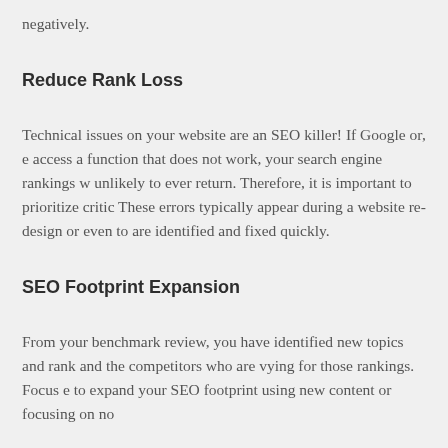negatively.
Reduce Rank Loss
Technical issues on your website are an SEO killer! If Google or, e access a function that does not work, your search engine rankings w unlikely to ever return. Therefore, it is important to prioritize critic These errors typically appear during a website re-design or even to are identified and fixed quickly.
SEO Footprint Expansion
From your benchmark review, you have identified new topics and rank and the competitors who are vying for those rankings. Focus e to expand your SEO footprint using new content or focusing on no
Gladiator Law Marketing identifies the greatest factors that will im